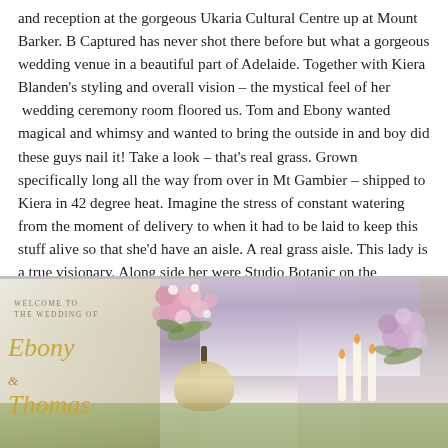and reception at the gorgeous Ukaria Cultural Centre up at Mount Barker. B Captured has never shot there before but what a gorgeous wedding venue in a beautiful part of Adelaide. Together with Kiera Blanden's styling and overall vision – the mystical feel of her  wedding ceremony room floored us. Tom and Ebony wanted magical and whimsy and wanted to bring the outside in and boy did these guys nail it! Take a look – that's real grass. Grown specifically long all the way from over in Mt Gambier – shipped to Kiera in 42 degree heat. Imagine the stress of constant watering from the moment of delivery to when it had to be laid to keep this stuff alive so that she'd have an aisle. A real grass aisle. This lady is a true visionary. Along side her were Studio Botanic on the amazing beautiful florals and Blue Bell Studio on the gorgeous signage/stationery.  Sooo much work went into this set up. Wedding goals right there guys!
[Figure (photo): Wedding photo collage showing a welcome sign reading 'Welcome to the Wedding of Ebony & Thomas' in gold cursive on left, bridesmaids in lavender dresses holding floral bouquets in the center, a crystal chandelier centerpiece, green grass aisle, floral arrangements with pink and white flowers, and candles on the right.]